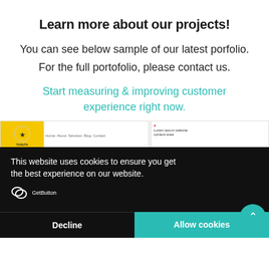Learn more about our projects!
You can see below sample of our latest porfolio.
For the full portofolio, please contact us.
Start measuring & improving customer experience right now.
[Figure (screenshot): Screenshot of website portfolio samples overlaid with a cookie consent banner. The cookie banner reads 'This website uses cookies to ensure you get the best experience on our website.' with Decline and Allow cookies buttons. A teal scroll-up button is visible at bottom right. A GetButton icon and label are at the bottom left of the banner.]